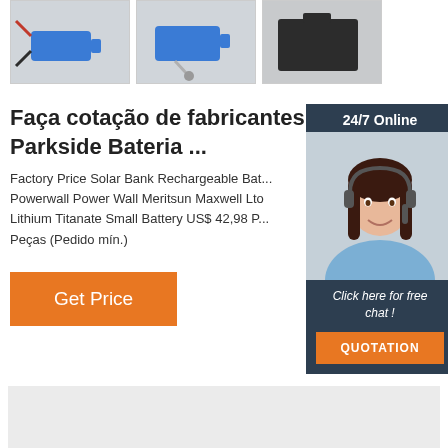[Figure (photo): Three product thumbnail photos of batteries/power banks in a row with gray borders]
Faça cotação de fabricantes Parkside Bateria ...
Factory Price Solar Bank Rechargeable Bat... Powerwall Power Wall Meritsun Maxwell Lto Lithium Titanate Small Battery US$ 42,98 P... Peças (Pedido mín.)
[Figure (photo): Chat widget with 24/7 Online label, female customer service agent photo, 'Click here for free chat!' text and orange QUOTATION button]
[Figure (other): Get Price orange button]
[Figure (other): Gray rectangle at the bottom of the page]